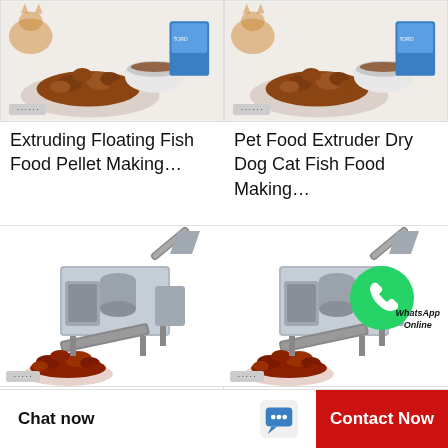[Figure (photo): Pet food product photo showing dry kibble, bowl, and packaging - top left card]
Extruding Floating Fish Food Pellet Making…
[Figure (photo): Pet food product photo showing dry kibble, bowl, and packaging - top right card]
Pet Food Extruder Dry Dog Cat Fish Food Making…
[Figure (photo): Industrial fish feed / pet food pellet making machine with conveyor belt and pile of red pellets - bottom left card]
Animal Fish Feed Making Pet Food Pellet Mill…
[Figure (photo): Industrial fish feed / pet food pellet making machine with conveyor belt, pile of red pellets, and WhatsApp Online badge - bottom right card]
Fish Pellet Feed Making/Animal Food Pel…
Chat now
Contact Now